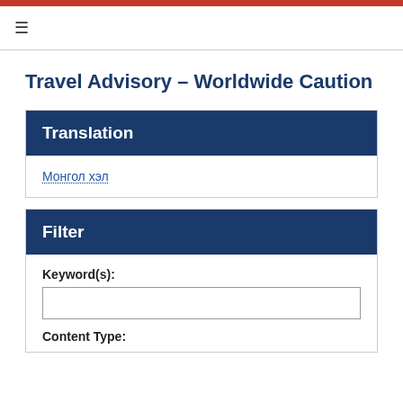Travel Advisory – Worldwide Caution
Translation
Монгол хэл
Filter
Keyword(s):
Content Type: